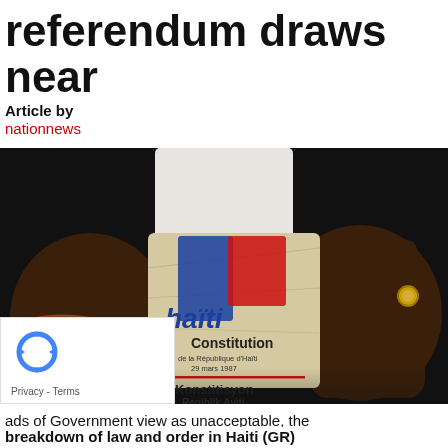referendum draws near
Article by
nationnews
[Figure (photo): Hands holding a worn copy of the Haiti Constitution booklet (Constitution de la République d'Haïti, 29 mars 1987 / Konstitisyon Repiblik Ayiti, 29 mas 1987) with blue and red stripes on the cover against a dark background.]
ads of Government view as unacceptable, the breakdown of law and order in Haiti (GR)